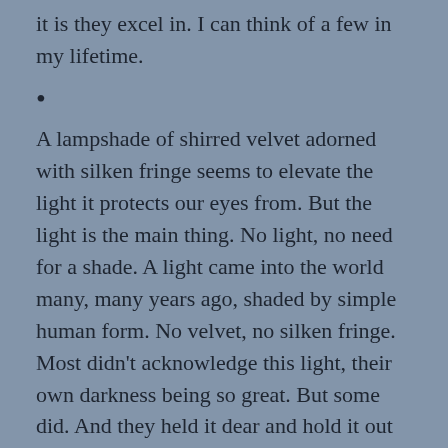it is they excel in. I can think of a few in my lifetime.
•
A lampshade of shirred velvet adorned with silken fringe seems to elevate the light it protects our eyes from. But the light is the main thing. No light, no need for a shade. A light came into the world many, many years ago, shaded by simple human form. No velvet, no silken fringe. Most didn't acknowledge this light, their own darkness being so great. But some did. And they held it dear and hold it out to light the way for others.